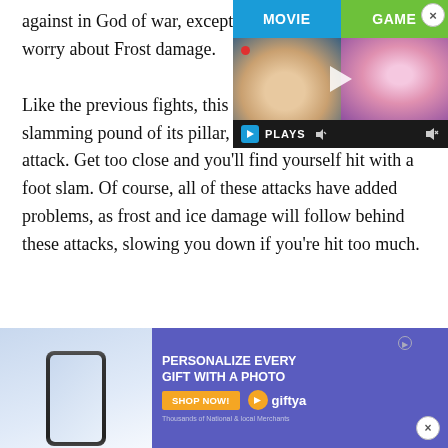against in God of war, except this time you'll need to worry about Frost damage.
[Figure (screenshot): Video player overlay showing MOVIE vs GAME comparison with two thumbnails (a blonde person lying down on left, a cartoon LEGO character on right), a play button in the center, and a PLAYS control bar at the bottom with a record dot and speaker icon. A close X button appears in the top-right corner.]
Like the previous fights, this troll will use its slamming pound of its pillar, as well as a hammer-like attack. Get too close and you'll find yourself hit with a foot slam. Of course, all of these attacks have added problems, as frost and ice damage will follow behind these attacks, slowing you down if you're hit too much.
[Figure (screenshot): Advertisement banner for GiftYa: 'PERSONALIZE EVERY GIFT WITH A PHOTO' with an orange SHOP NOW button, GiftYa logo on the right, and a phone mockup image on the left. An X close button is in the bottom-right corner.]